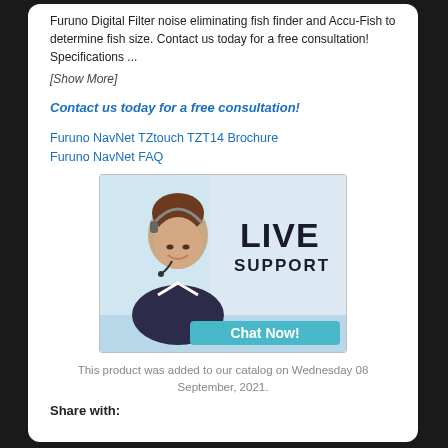Furuno Digital Filter noise eliminating fish finder and Accu-Fish to determine fish size. Contact us today for a free consultation! Specifications ...
[Show More]
Contact us today for a free consultation!
Furuno NavNet TZtouch TZT14 Brochure
Furuno NavNet FAQ
[Figure (illustration): Live Support chat banner showing a woman with a headset smiling, with text 'Live Support' and a 'Chat Now!' button on a blue gradient background.]
This product was added to our catalog on Wednesday 08 September, 2021.
Share with: